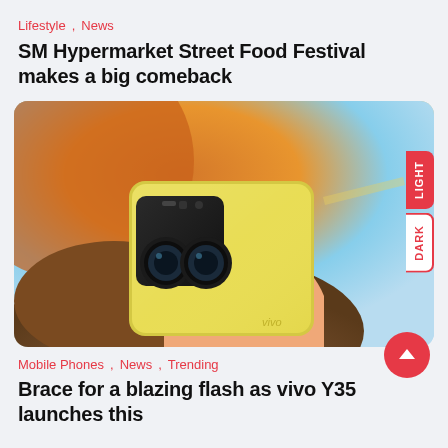Lifestyle , News
SM Hypermarket Street Food Festival makes a big comeback
[Figure (photo): A person holding a gold-colored vivo Y35 smartphone showing its back with dual camera module against a colorful background]
Mobile Phones , News , Trending
Brace for a blazing flash as vivo Y35 launches this